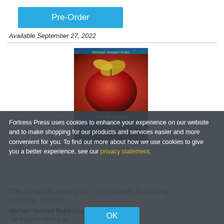Pre-Order
Available September 27, 2022
[Figure (illustration): Book cover for 'The Kingdom Among Us: The Gospel According to Dallas Willard' by Michael Stewart Robb. Dark blue background with a large red fruit (apple) and golden leaves.]
Fortress Press uses cookies to enhance your experience on our website and to make shopping for our products and services easier and more convenient for you. To find out more about how we use cookies to give you a better experience, see our privacy statement.
OK
The Kingdom Among Us: The Gospel According to Dallas Willard
Michael Stewart Robb (Author)
The Kingdom Among Us